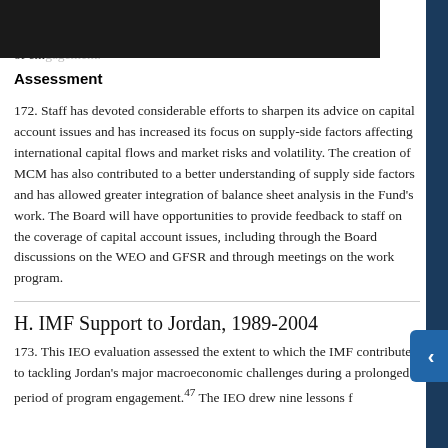set d[...] experience. [...]t of em[...]
Assessment
172. Staff has devoted considerable efforts to sharpen its advice on capital account issues and has increased its focus on supply-side factors affecting international capital flows and market risks and volatility. The creation of MCM has also contributed to a better understanding of supply side factors and has allowed greater integration of balance sheet analysis in the Fund’s work. The Board will have opportunities to provide feedback to staff on the coverage of capital account issues, including through the Board discussions on the WEO and GFSR and through meetings on the work program.
H. IMF Support to Jordan, 1989-2004
173. This IEO evaluation assessed the extent to which the IMF contributed to tackling Jordan’s major macroeconomic challenges during a prolonged period of program engagement.⁴⁷ The IEO drew nine lessons f[...]